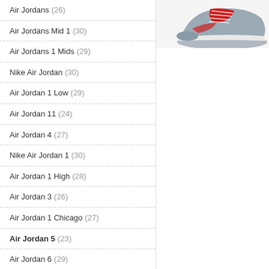[Figure (photo): Partial image of Air Jordan 5 sneaker, red and grey colorway, visible at top right corner]
Air Jordans (26)
Air Jordans Mid 1 (30)
Air Jordans 1 Mids (29)
Nike Air Jordan (30)
Air Jordan 1 Low (29)
Air Jordan 11 (24)
Air Jordan 4 (27)
Nike Air Jordan 1 (30)
Air Jordan 1 High (28)
Air Jordan 3 (26)
Air Jordan 1 Chicago (27)
Air Jordan 5 (23)
Air Jordan 6 (29)
Air Jordan Shoes (23)
Air Jordan 12 (27)